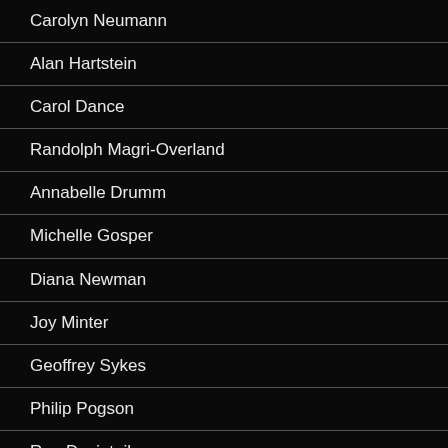Carolyn Neumann
Alan Hartstein
Carol Dance
Randolph Magri-Overland
Annabelle Drumm
Michelle Gosper
Diana Newman
Joy Minter
Geoffrey Sykes
Philip Pogson
Ron Desiatnik
Raul Herandez